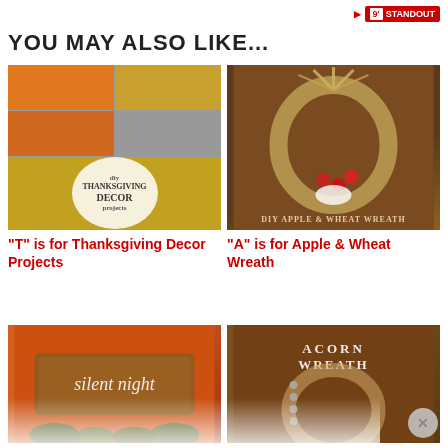9' STANDOUT
YOU MAY ALSO LIKE...
[Figure (photo): Collage of DIY Thanksgiving Decor Projects images]
"T" is for Thanksgiving Decor Projects
[Figure (photo): DIY Apple & Wheat Wreath hanging on a wooden door]
"A" is for Apple & Wheat Wreath
[Figure (photo): Silent night holiday sign with greenery]
[Figure (photo): Acorn Wreath on a wooden door]